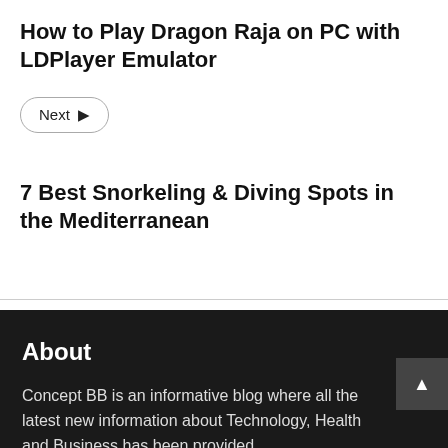How to Play Dragon Raja on PC with LDPlayer Emulator
Next →
7 Best Snorkeling & Diving Spots in the Mediterranean
About
Concept BB is an informative blog where all the latest news and information about Technology, Health and Business has been provided.